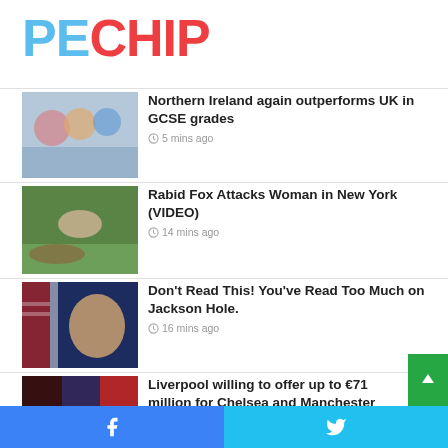PECHIP
Northern Ireland again outperforms UK in GCSE grades · 5 mins ago
Rabid Fox Attacks Woman in New York (VIDEO) · 14 mins ago
Don't Read This! You've Read Too Much on Jackson Hole. · 16 mins ago
Liverpool willing to offer up to €71 million for Chelsea and Manchester United target: Reports · 17 mins ago